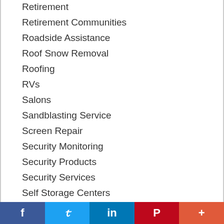Retirement
Retirement Communities
Roadside Assistance
Roof Snow Removal
Roofing
RVs
Salons
Sandblasting Service
Screen Repair
Security Monitoring
Security Products
Security Services
Self Storage Centers
Senior care
f  t  in  P  +